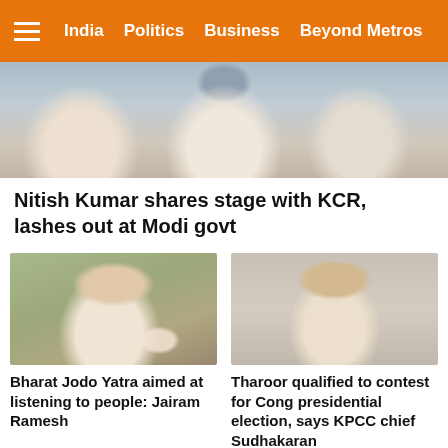India  Politics  Business  Beyond Metros
[Figure (photo): Photo of people seated, wearing white clothes, partially visible]
Nitish Kumar shares stage with KCR, lashes out at Modi govt
[Figure (photo): Photo of Jairam Ramesh, an older man in white shirt, gesturing with hands]
Bharat Jodo Yatra aimed at listening to people: Jairam Ramesh
[Figure (photo): Photo of KPCC chief Sudhakaran, a man with mustache wearing white, smiling]
Tharoor qualified to contest for Cong presidential election, says KPCC chief Sudhakaran